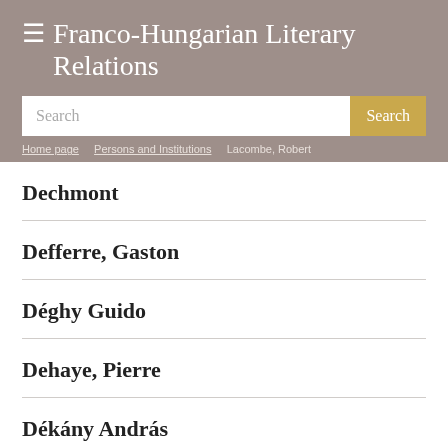≡ Franco-Hungarian Literary Relations
Search
Home page / Persons and Institutions / Lacombe, Robert
Dechmont
Defferre, Gaston
Déghy Guido
Dehaye, Pierre
Dékány András